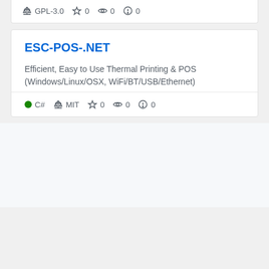⚖ GPL-3.0 ☆ 0 👁 0 ⚠ 0
ESC-POS-.NET
Efficient, Easy to Use Thermal Printing & POS (Windows/Linux/OSX, WiFi/BT/USB/Ethernet)
● C# ⚖ MIT ☆ 0 👁 0 ⚠ 0